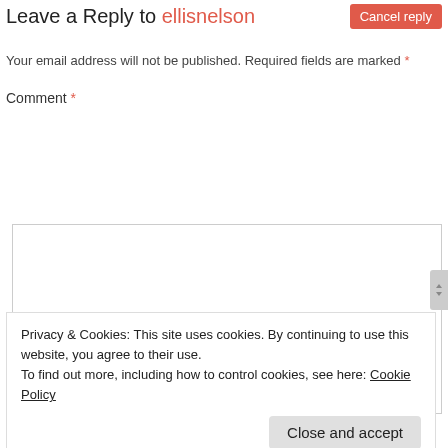Leave a Reply to ellisnelson
Your email address will not be published. Required fields are marked *
Comment *
Privacy & Cookies: This site uses cookies. By continuing to use this website, you agree to their use.
To find out more, including how to control cookies, see here: Cookie Policy
Close and accept